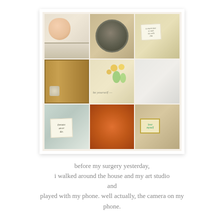[Figure (photo): A 3x3 collage of nine photos taken in a home and art studio. Top row: a doll face on a shelf, a bowl with colorful eggs/marbles, a handwritten note. Middle row: a wooden cabinet with items inside, a 'be yourself' handwritten card with flowers, a sketch of a face. Bottom row: a 'Dreams never die' handwritten note card, a glowing orange bag/lamp, a 'love myself' sign with colorful items.]
before my surgery yesterday,
i walked around the house and my art studio
and
played with my phone. well actually, the camera on my phone.